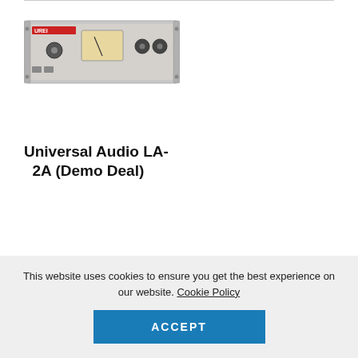[Figure (photo): Product photo of Universal Audio LA-2A hardware unit, a silver rack-mounted audio compressor with VU meter and knobs]
Universal Audio LA-2A (Demo Deal)
$4,699.00 (strikethrough original price)
$4,000.00 (sale price, partially visible)
This website uses cookies to ensure you get the best experience on our website. Cookie Policy
ACCEPT